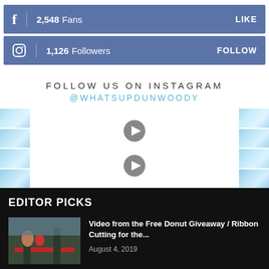f  2,548  Fans   LIKE
Instagram icon  1,126  Followers   FOLLOW
FOLLOW US ON INSTAGRAM
@WHATSUPDUNWOODY
[Figure (screenshot): Instagram grid thumbnails with play buttons]
EDITOR PICKS
[Figure (photo): Thumbnail image of people at a ribbon cutting event]
Video from the Free Donut Giveaway / Ribbon Cutting for the...
August 4, 2019